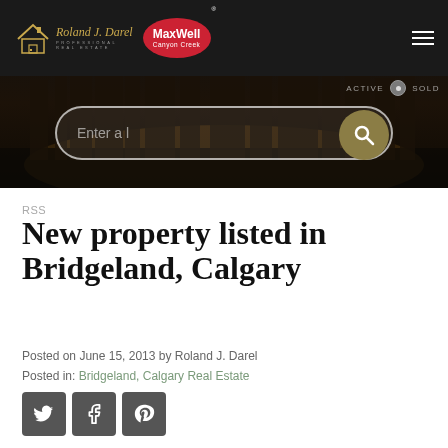[Figure (screenshot): Real estate website header with Roland J. Darel Professional Real Estate logo, MaxWell Canyon Creek red oval logo, hamburger menu, Active/Sold status labels, and a search bar with filter icon and gold search button over a dark city skyline background]
RSS
New property listed in Bridgeland, Calgary
Posted on June 15, 2013 by Roland J. Darel
Posted in: Bridgeland, Calgary Real Estate
[Figure (other): Social media sharing icons: Twitter (bird), Facebook (f), Pinterest (p) — dark grey square buttons]